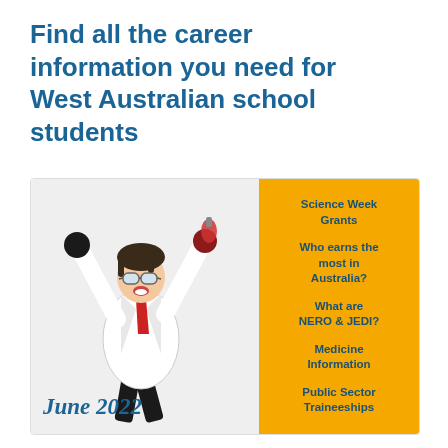Find all the career information you need for West Australian school students
[Figure (illustration): A scientist in a white lab coat, wearing goggles and red scarf, arms raised in celebration holding a red flask, set against a light background. Text 'June 2022' appears in blue italic. To the right is a yellow panel listing: Science Week Grants, Who earns the most in Australia?, What are NERO & JEDI?, Medicine Information, Public Sector Traineeships.]